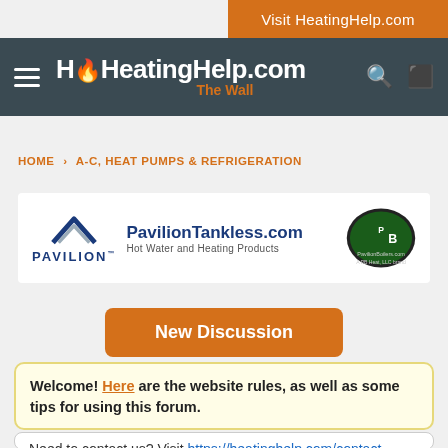Visit HeatingHelp.com
HeatingHelp.com The Wall
HOME › A-C, HEAT PUMPS & REFRIGERATION
[Figure (logo): Pavilion Tankless advertisement banner with Pavilion logo, PavilionTankless.com text, Hot Water and Heating Products tagline, and PB Heat LLC brand logo]
New Discussion
Welcome! Here are the website rules, as well as some tips for using this forum.
Need to contact us? Visit https://heatinghelp.com/contact-